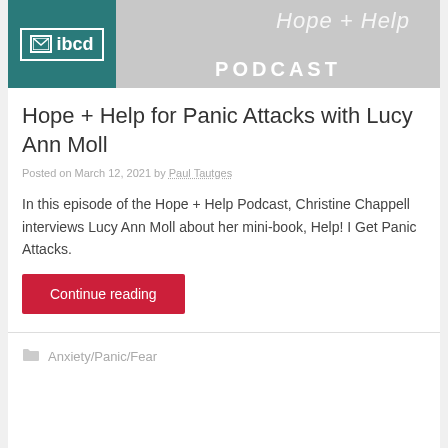[Figure (screenshot): IBCD Hope + Help Podcast banner image with teal ibcd logo box on left and 'PODCAST' text on grey background on right]
Hope + Help for Panic Attacks with Lucy Ann Moll
Posted on March 12, 2021 by Paul Tautges
In this episode of the Hope + Help Podcast, Christine Chappell interviews Lucy Ann Moll about her mini-book, Help! I Get Panic Attacks.
Continue reading
Anxiety/Panic/Fear